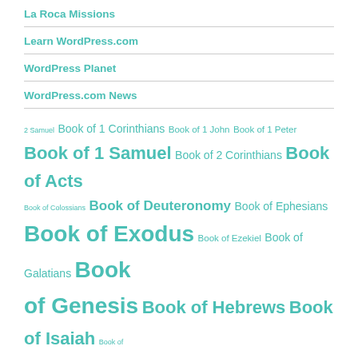La Roca Missions
Learn WordPress.com
WordPress Planet
WordPress.com News
2 Samuel Book of 1 Corinthians Book of 1 John Book of 1 Peter Book of 1 Samuel Book of 2 Corinthians Book of Acts Book of Colossians Book of Deuteronomy Book of Ephesians Book of Exodus Book of Ezekiel Book of Galatians Book of Genesis Book of Hebrews Book of Isaiah Book of James Book of Jeremiah Book of Job Book of John Book of Luke Book Of Mark